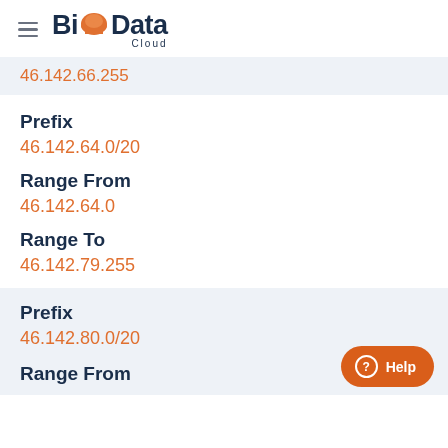BigData Cloud
46.142.66.255
Prefix
46.142.64.0/20
Range From
46.142.64.0
Range To
46.142.79.255
Prefix
46.142.80.0/20
Range From